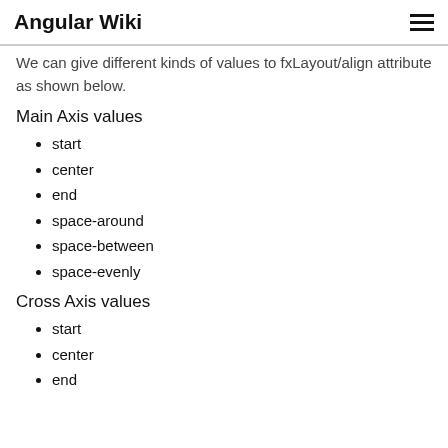Angular Wiki
We can give different kinds of values to fxLayout/align attribute as shown below.
Main Axis values
start
center
end
space-around
space-between
space-evenly
Cross Axis values
start
center
end